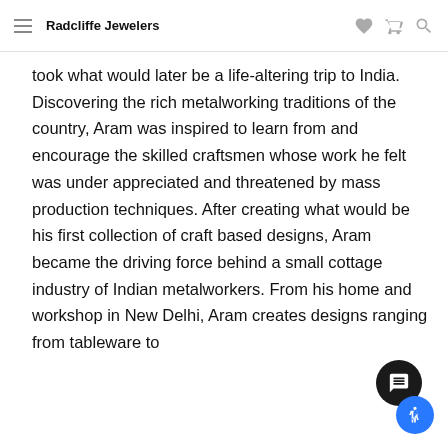Radcliffe Jewelers
took what would later be a life-altering trip to India. Discovering the rich metalworking traditions of the country, Aram was inspired to learn from and encourage the skilled craftsmen whose work he felt was under appreciated and threatened by mass production techniques. After creating what would be his first collection of craft based designs, Aram became the driving force behind a small cottage industry of Indian metalworkers. From his home and workshop in New Delhi, Aram creates designs ranging from tablewares to